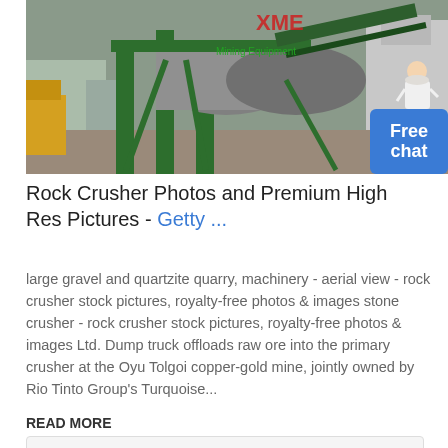[Figure (photo): Industrial rock crusher / mining equipment with green metal structure and conveyor belt. XME Mining Equipment logo visible in red/green. Outdoor industrial setting.]
Rock Crusher Photos and Premium High Res Pictures - Getty ...
large gravel and quartzite quarry, machinery - aerial view - rock crusher stock pictures, royalty-free photos & images stone crusher - rock crusher stock pictures, royalty-free photos & images Ltd. Dump truck offloads raw ore into the primary crusher at the Oyu Tolgoi copper-gold mine, jointly owned by Rio Tinto Group's Turquoise...
READ MORE